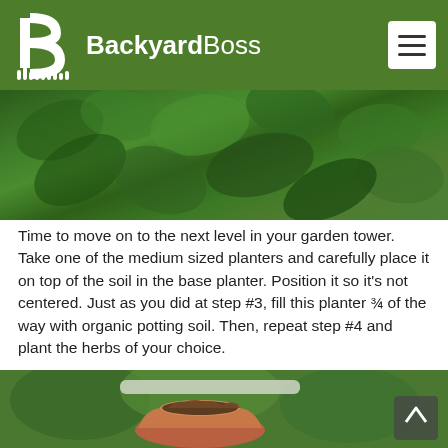BackyardBoss
[Figure (photo): Close-up of green leafy plants growing in a garden]
Time to move on to the next level in your garden tower. Take one of the medium sized planters and carefully place it on top of the soil in the base planter. Position it so it’s not centered. Just as you did at step #3, fill this planter ¾ of the way with organic potting soil. Then, repeat step #4 and plant the herbs of your choice.
[Figure (photo): A terracotta pot filled with soil sitting among green plants in a garden setting]